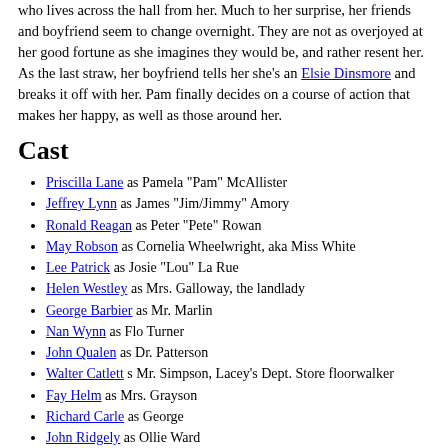who lives across the hall from her. Much to her surprise, her friends and boyfriend seem to change overnight. They are not as overjoyed at her good fortune as she imagines they would be, and rather resent her. As the last straw, her boyfriend tells her she's an Elsie Dinsmore and breaks it off with her. Pam finally decides on a course of action that makes her happy, as well as those around her.
Cast
Priscilla Lane as Pamela "Pam" McAllister
Jeffrey Lynn as James "Jim/Jimmy" Amory
Ronald Reagan as Peter "Pete" Rowan
May Robson as Cornelia Wheelwright, aka Miss White
Lee Patrick as Josie "Lou" La Rue
Helen Westley as Mrs. Galloway, the landlady
George Barbier as Mr. Marlin
Nan Wynn as Flo Turner
John Qualen as Dr. Patterson
Walter Catlett s Mr. Simpson, Lacey's Dept. Store floorwalker
Fay Helm as Mrs. Grayson
Richard Carle as George
John Ridgely as Ollie Ward
Maris Wrixon as Diana Bennet
James Burke as Callahan, Lacey's Dept. Store detective